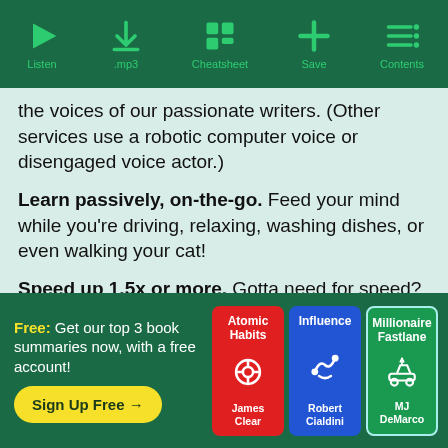[Figure (screenshot): App toolbar with green background showing icons and labels: Listen (play icon), .mp3 (download icon), Cheatsheet (grid icon), Save (plus icon), Contents (menu icon)]
the voices of our passionate writers. (Other services use a robotic computer voice or disengaged voice actor.)
Learn passively, on-the-go. Feed your mind while you're driving, relaxing, washing dishes, or even walking your cat!
Speed up 1.5x or more. Gotta need for speed? Don't worry, we got you covered!
Free: Get our top 3 book summaries now, with a free account!
Sign Up Free →
[Figure (illustration): Three book cover cards: Atomic Habits by James Clear (red), Influence by Robert Cialdini (blue), Millionaire Fastlane by MJ DeMarco (green)]